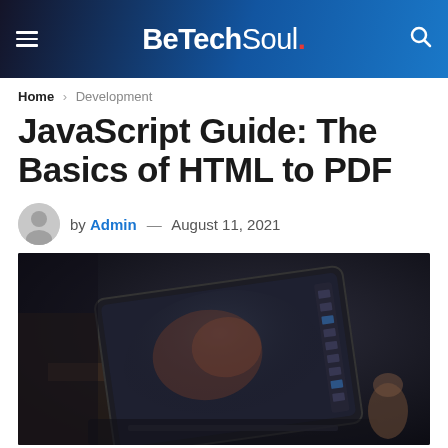BeTechSoul.
Home > Development
JavaScript Guide: The Basics of HTML to PDF
by Admin — August 11, 2021
[Figure (photo): Dark photo of a laptop/tablet on a desk showing a software interface or design application, with blurred background items]